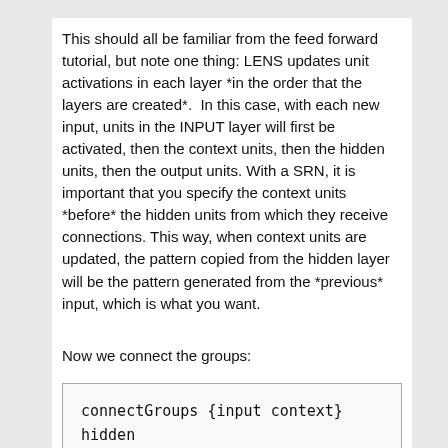This should all be familiar from the feed forward tutorial, but note one thing: LENS updates unit activations in each layer *in the order that the layers are created*.  In this case, with each new input, units in the INPUT layer will first be activated, then the context units, then the hidden units, then the output units. With a SRN, it is important that you specify the context units *before* the hidden units from which they receive connections. This way, when context units are updated, the pattern copied from the hidden layer will be the pattern generated from the *previous* input, which is what you want.
Now we connect the groups:
connectGroups {input context} hidden output
This should be familiar, but what are the curly braces? This is LENS shorthand indicating that bout input and context units send connections to the hidden layer.